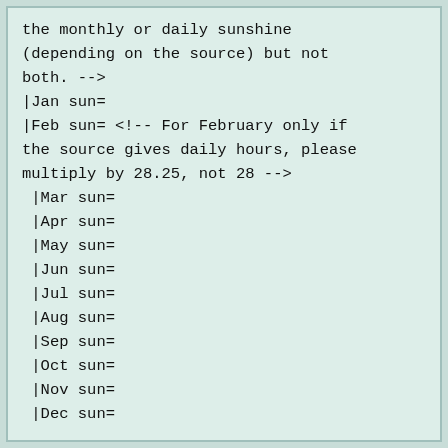the monthly or daily sunshine (depending on the source) but not both. -->
|Jan sun=
|Feb sun= <!-- For February only if the source gives daily hours, please multiply by 28.25, not 28 -->
|Mar sun=
|Apr sun=
|May sun=
|Jun sun=
|Jul sun=
|Aug sun=
|Sep sun=
|Oct sun=
|Nov sun=
|Dec sun=